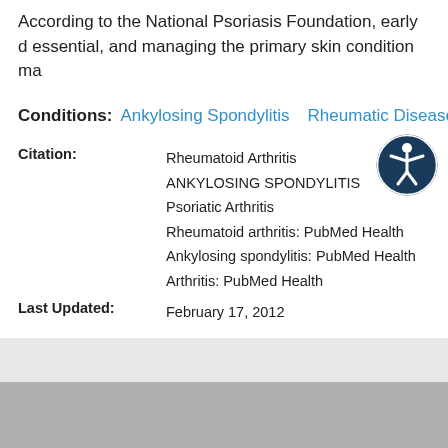According to the National Psoriasis Foundation, early d essential, and managing the primary skin condition ma
Conditions: Ankylosing Spondylitis  Rheumatic Disease  P
Citation: Rheumatoid Arthritis
ANKYLOSING SPONDYLITIS
Psoriatic Arthritis
Rheumatoid arthritis: PubMed Health
Ankylosing spondylitis: PubMed Health
Arthritis: PubMed Health
Last Updated: February 17, 2012
[Figure (illustration): Accessibility icon: circular dark blue badge with a white stick figure person with arms outstretched]
[Figure (infographic): Gray banner advertisement area]
The Medicine Shoppe Pharmacy
Refill 24/7, save medications and access your account from our mobile app.
★★★★★ (12)
[Figure (logo): The Medicine Shoppe Pharmacy logo: dark blue mortar and pestle icon]